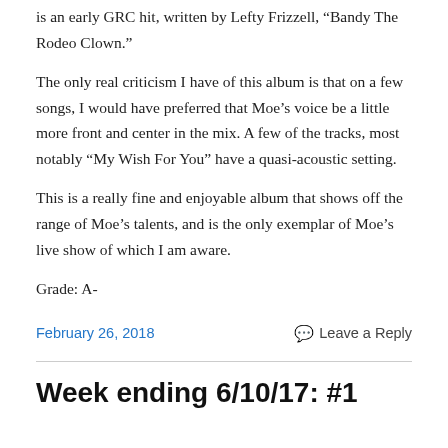is an early GRC hit, written by Lefty Frizzell, “Bandy The Rodeo Clown.”
The only real criticism I have of this album is that on a few songs, I would have preferred that Moe’s voice be a little more front and center in the mix. A few of the tracks, most notably “My Wish For You” have a quasi-acoustic setting.
This is a really fine and enjoyable album that shows off the range of Moe’s talents, and is the only exemplar of Moe’s live show of which I am aware.
Grade: A-
February 26, 2018
Leave a Reply
Week ending 6/10/17: #1